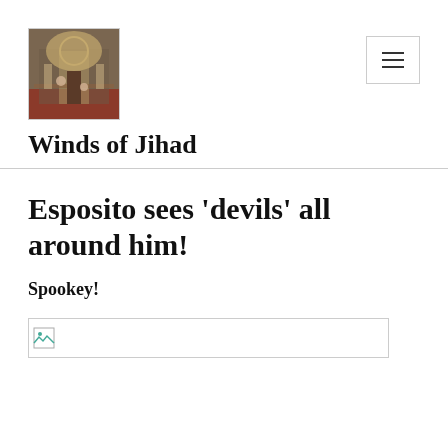[Figure (photo): Small square logo image showing an ornate interior scene, possibly a mosque or cathedral with figures, in warm tones]
Winds of Jihad
Esposito sees 'devils' all around him!
Spookey!
[Figure (photo): Broken/missing image placeholder with small icon]